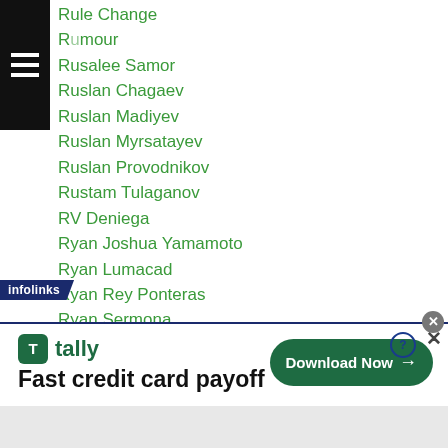Rule Change
Rumour
Rusalee Samor
Ruslan Chagaev
Ruslan Madiyev
Ruslan Myrsatayev
Ruslan Provodnikov
Rustam Tulaganov
RV Deniega
Ryan Joshua Yamamoto
Ryan Lumacad
Ryan Rey Ponteras
Ryan Sermona
Ryo Akaho
Ryohei Arakawa
Ryohei Takahashi
[Figure (screenshot): Advertisement banner: tally app - Fast credit card payoff with Download Now button]